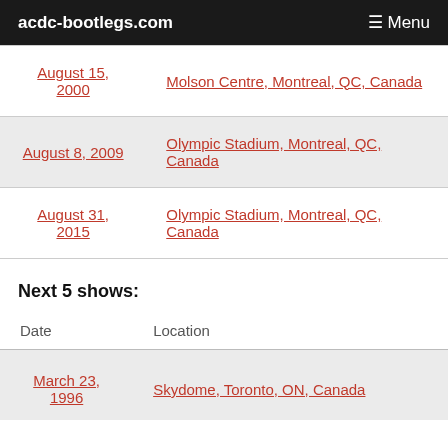acdc-bootlegs.com   ☰ Menu
| Date | Location |
| --- | --- |
| August 15, 2000 | Molson Centre, Montreal, QC, Canada |
| August 8, 2009 | Olympic Stadium, Montreal, QC, Canada |
| August 31, 2015 | Olympic Stadium, Montreal, QC, Canada |
Next 5 shows:
| Date | Location |
| --- | --- |
| March 23, 1996 | Skydome, Toronto, ON, Canada |